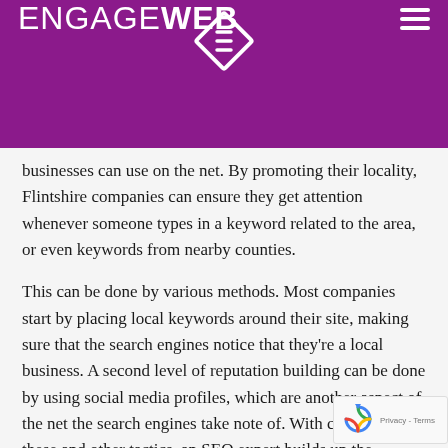ENGAGEWEB
businesses can use on the net. By promoting their locality, Flintshire companies can ensure they get attention whenever someone types in a keyword related to the area, or even keywords from nearby counties.
This can be done by various methods. Most companies start by placing local keywords around their site, making sure that the search engines notice that they're a local business. A second level of reputation building can be done by using social media profiles, which are another aspect of the net the search engines take note of. With careful use of these and other tactics, an SEO expert builds up the relevance the company website to local searches. The result is a